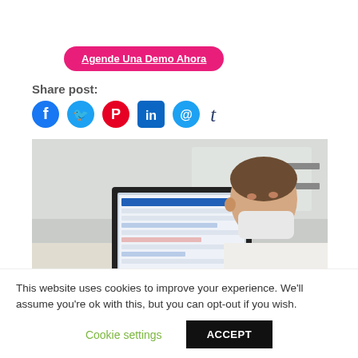[Figure (other): Pink pill-shaped button with text 'Agende Una Demo Ahora' in white underlined text]
Share post:
[Figure (other): Row of social media icons: Facebook (dark blue circle), Twitter (blue circle), Pinterest (red circle), LinkedIn (blue square), Email (blue circle with @), Tumblr (dark blue t letter)]
[Figure (photo): Photo of a man wearing a medical mask, looking at a computer monitor displaying a dental or medical software interface, in a clinical setting]
This website uses cookies to improve your experience. We'll assume you're ok with this, but you can opt-out if you wish.
Cookie settings
ACCEPT